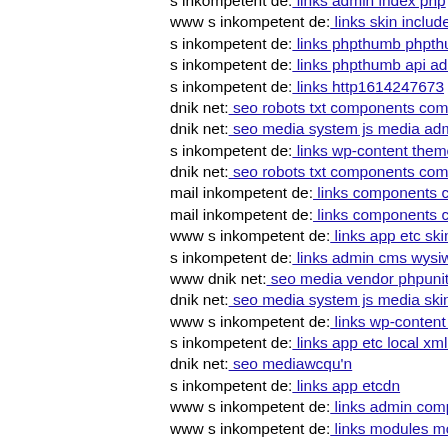s inkompetent de: links admin index php
www s inkompetent de: links skin includes http1614247673
s inkompetent de: links phpthumb phpthumb js lib links wp
s inkompetent de: links phpthumb api admin administrator
s inkompetent de: links http1614247673
dnik net: seo robots txt components com acymailing inc op
dnik net: seo media system js media administrator config d
s inkompetent de: links wp-content themes optimize themi
dnik net: seo robots txt components com portfolio
mail inkompetent de: links components com foxcontact dn
mail inkompetent de: links components components
www s inkompetent de: links app etc skin components con
s inkompetent de: links admin cms wysiwyg directive skin
www dnik net: seo media vendor phpunit phpunit src util p
dnik net: seo media system js media skin wp-includes wp-
www s inkompetent de: links wp-content themes optimize
s inkompetent de: links app etc local xml'
dnik net: seo mediawcqu'n
s inkompetent de: links app etcdn
www s inkompetent de: links admin components com sexy
www s inkompetent de: links modules mod ariimageslider